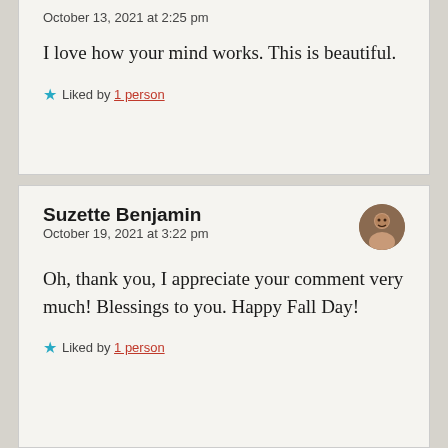October 13, 2021 at 2:25 pm
I love how your mind works. This is beautiful.
Liked by 1 person
Suzette Benjamin
October 19, 2021 at 3:22 pm
Oh, thank you, I appreciate your comment very much! Blessings to you. Happy Fall Day!
Liked by 1 person